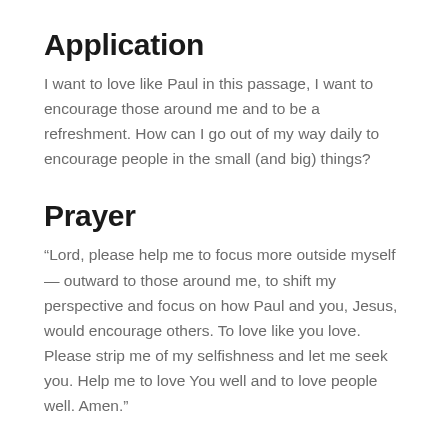Application
I want to love like Paul in this passage, I want to encourage those around me and to be a refreshment. How can I go out of my way daily to encourage people in the small (and big) things?
Prayer
“Lord, please help me to focus more outside myself — outward to those around me, to shift my perspective and focus on how Paul and you, Jesus, would encourage others. To love like you love. Please strip me of my selfishness and let me seek you. Help me to love You well and to love people well. Amen.”